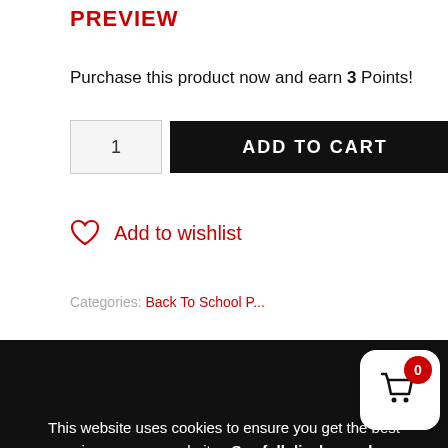PREVIEW
Purchase this product now and earn 3 Points!
1  ADD TO CART
♡  Add to wishlist
Categories: Back To School P...
This website uses cookies to ensure you get the best experience on our website.  See full disclosure here.
ACCEPT
DESCRIPTION
You and your kiddos will love these 30 Fall Punny Notes and Jokes. Just print, cut and place in kids lunch boxes. This is a special way to send